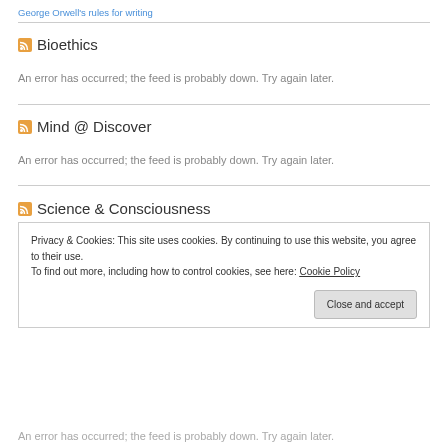George Orwell's rules for writing
Bioethics
An error has occurred; the feed is probably down. Try again later.
Mind @ Discover
An error has occurred; the feed is probably down. Try again later.
Science & Consciousness
Privacy & Cookies: This site uses cookies. By continuing to use this website, you agree to their use. To find out more, including how to control cookies, see here: Cookie Policy
An error has occurred; the feed is probably down. Try again later.